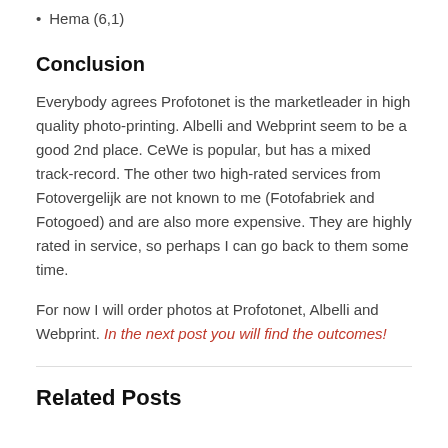Hema (6,1)
Conclusion
Everybody agrees Profotonet is the marketleader in high quality photo-printing. Albelli and Webprint seem to be a good 2nd place. CeWe is popular, but has a mixed track-record. The other two high-rated services from Fotovergelijk are not known to me (Fotofabriek and Fotogoed) and are also more expensive. They are highly rated in service, so perhaps I can go back to them some time.
For now I will order photos at Profotonet, Albelli and Webprint. In the next post you will find the outcomes!
Related Posts